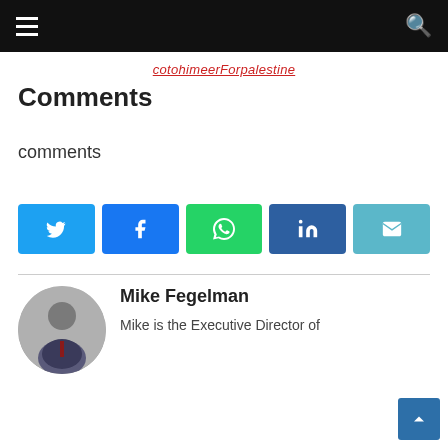cotohimeerForpalestine
Comments
comments
[Figure (infographic): Five social share buttons: Twitter (blue), Facebook (dark blue), WhatsApp (green), LinkedIn (navy), Email (teal)]
Mike Fegelman
Mike is the Executive Director of